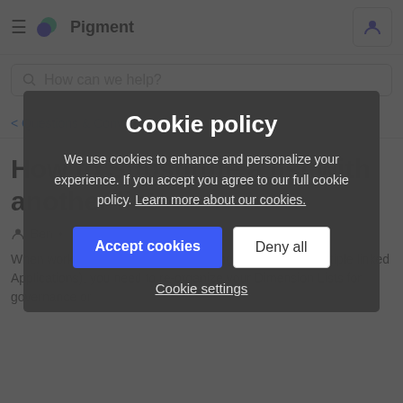Pigment
How can we help?
< Questions & Conversations
How to Substitute a list with another list
Ben •
When working with Distributed Planning architecture (multiple linked Applications), you need to re-organize your Dimension Lists for governance or
Cookie policy

We use cookies to enhance and personalize your experience. If you accept you agree to our full cookie policy. Learn more about our cookies.

Accept cookies | Deny all

Cookie settings